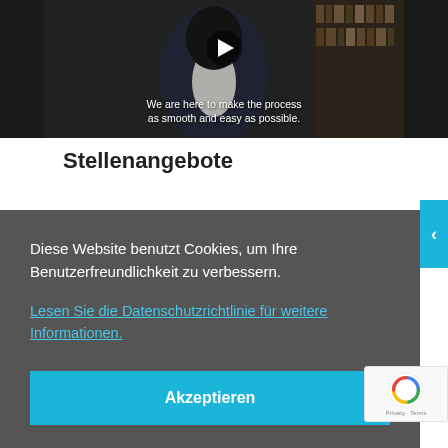[Figure (screenshot): Video thumbnail showing a man in a suit, with a play button overlay and subtitle text 'We are here to make the process as smooth and easy as possible.']
Stellenangebote
Diese Website benutzt Cookies, um Ihre Benutzerfreundlichkeit zu verbessern.
Lesen Sie die Datenschutzrichtlinie für weitere Informationen.
Akzeptieren
product or improving...
Weitere Details